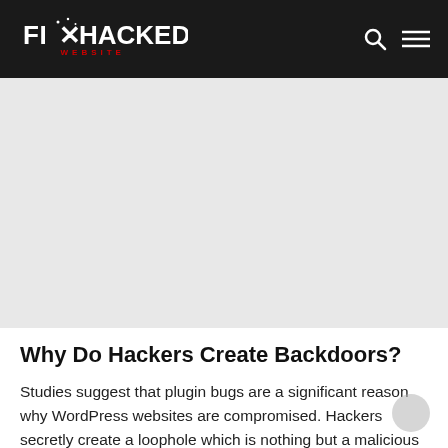Fix Hacked Website
[Figure (other): Light grey hero/banner placeholder area below the navigation header]
Why Do Hackers Create Backdoors?
Studies suggest that plugin bugs are a significant reason why WordPress websites are compromised. Hackers secretly create a loophole which is nothing but a malicious code after obtaining